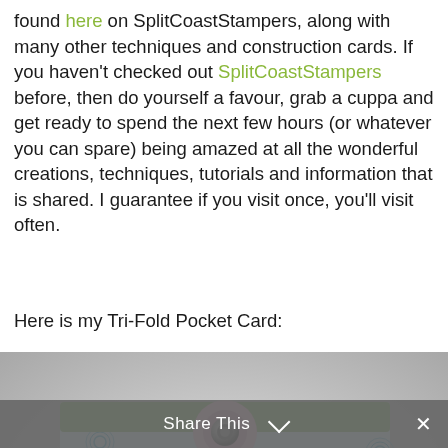found here on SplitCoastStampers, along with many other techniques and construction cards. If you haven't checked out SplitCoastStampers before, then do yourself a favour, grab a cuppa and get ready to spend the next few hours (or whatever you can spare) being amazed at all the wonderful creations, techniques, tutorials and information that is shared. I guarantee if you visit once, you'll visit often.
Here is my Tri-Fold Pocket Card:
[Figure (photo): Photo of a decorative Tri-Fold Pocket Card with floral patterned paper in blue, pink, and green with a metal brad/button closure, partially open showing inner pocket layers.]
Share This